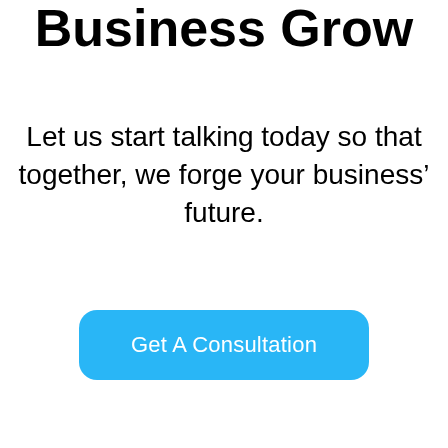Business Grow
Let us start talking today so that together, we forge your business’ future.
Get A Consultation